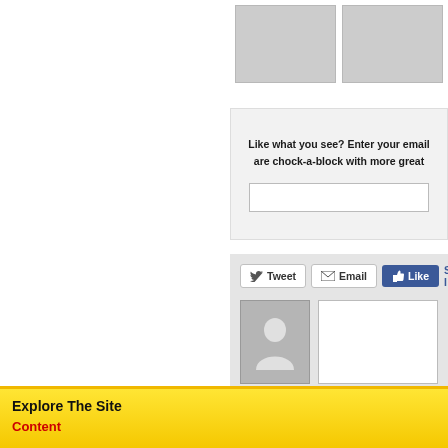[Figure (screenshot): Two gray placeholder image thumbnails side by side at top right]
Like what you see? Enter your email are chock-a-block with more great
[Figure (screenshot): Social share buttons: Tweet, Email, Like (Facebook), Sign In link]
[Figure (screenshot): User avatar placeholder with comment text box]
Explore The Site
Content